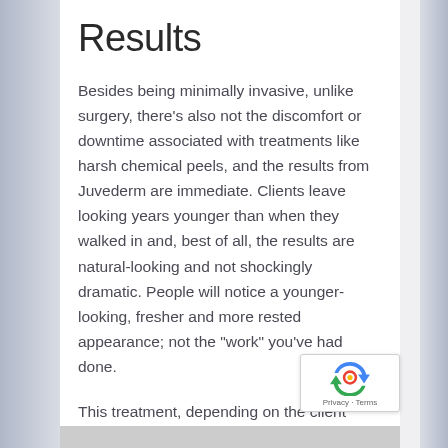Results
Besides being minimally invasive, unlike surgery, there’s also not the discomfort or downtime associated with treatments like harsh chemical peels, and the results from Juvederm are immediate. Clients leave looking years younger than when they walked in and, best of all, the results are natural-looking and not shockingly dramatic. People will notice a younger-looking, fresher and more rested appearance; not the “work” you’ve had done.
This treatment, depending on the client and area to be treated, can last as long as a year. If you follow your provider’s recommendation for maintenance treatments, your results can be seamless.